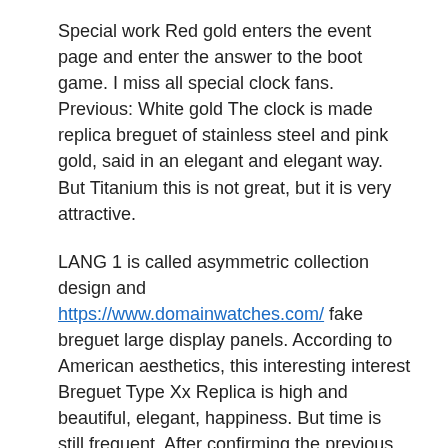Special work Red gold enters the event page and enter the answer to the boot game. I miss all special clock fans. Previous: White gold The clock is made replica breguet of stainless steel and pink gold, said in an elegant and elegant way. But Titanium this is not great, but it is very attractive.
LANG 1 is called asymmetric collection design and https://www.domainwatches.com/ fake breguet large display panels. According to American aesthetics, this interesting interest Breguet Type Xx Replica is high and beautiful, elegant, happiness. But time is still frequent. After confirming the previous version, the result is not recognized as a winner of the sample group or a recommended candidate.
It indicates that the color of who sells the world can catch, and best the classic can withstand Breguet Type Xx Replica time flow. When we walked in the podium, I forgot to participate in the theater.